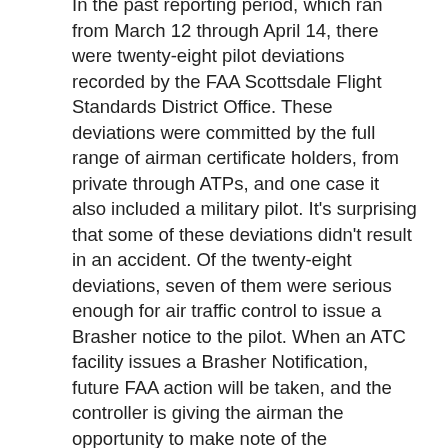In the past reporting period, which ran from March 12 through April 14, there were twenty-eight pilot deviations recorded by the FAA Scottsdale Flight Standards District Office. These deviations were committed by the full range of airman certificate holders, from private through ATPs, and one case it also included a military pilot. It's surprising that some of these deviations didn't result in an accident. Of the twenty-eight deviations, seven of them were serious enough for air traffic control to issue a Brasher notice to the pilot. When an ATC facility issues a Brasher Notification, future FAA action will be taken, and the controller is giving the airman the opportunity to make note of the occurrence and collect their thoughts for future interaction with Flight Standards.
The summary of the general aviation deviations committed this reporting period are as follows: